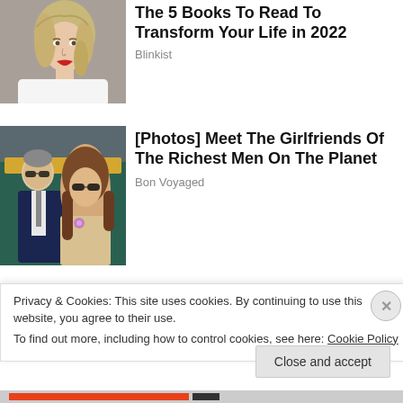[Figure (photo): Blonde woman with red lipstick, portrait photo, editorial style]
The 5 Books To Read To Transform Your Life in 2022
Blinkist
[Figure (photo): Man in suit with sunglasses and woman with long hair and sunglasses seated together, candid editorial photo]
[Photos] Meet The Girlfriends Of The Richest Men On The Planet
Bon Voyaged
[Figure (photo): Garden/nature scene with green foliage and yellow fruit]
Privacy & Cookies: This site uses cookies. By continuing to use this website, you agree to their use.
To find out more, including how to control cookies, see here: Cookie Policy